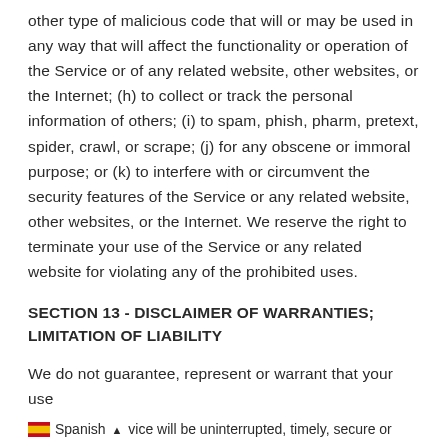other type of malicious code that will or may be used in any way that will affect the functionality or operation of the Service or of any related website, other websites, or the Internet; (h) to collect or track the personal information of others; (i) to spam, phish, pharm, pretext, spider, crawl, or scrape; (j) for any obscene or immoral purpose; or (k) to interfere with or circumvent the security features of the Service or any related website, other websites, or the Internet. We reserve the right to terminate your use of the Service or any related website for violating any of the prohibited uses.
SECTION 13 - DISCLAIMER OF WARRANTIES; LIMITATION OF LIABILITY
We do not guarantee, represent or warrant that your use
Spanish ^ vice will be uninterrupted, timely, secure or